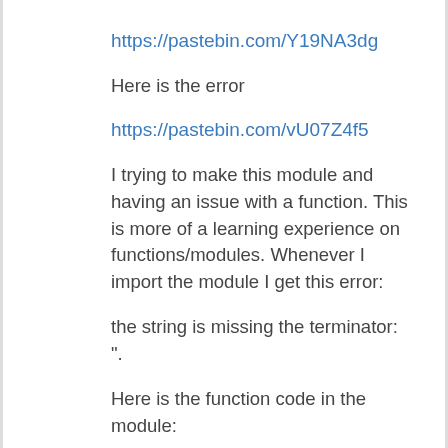https://pastebin.com/Y19NA3dg
Here is the error
https://pastebin.com/vU07Z4f5
I trying to make this module and having an issue with a function. This is more of a learning experience on functions/modules. Whenever I import the module I get this error:
the string is missing the terminator: ".
Here is the function code in the module:
Function reset-apwd ([String]$uname) {
$newpwd = Read-Host "Enter the new password" -AsSecureString